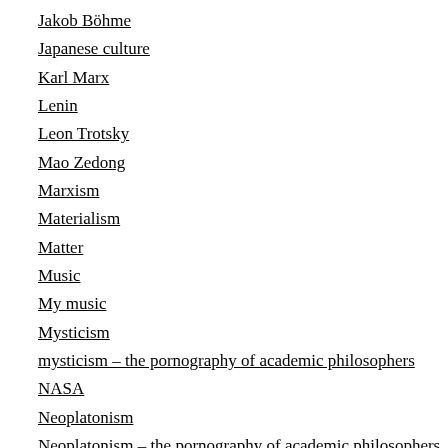Jakob Böhme
Japanese culture
Karl Marx
Lenin
Leon Trotsky
Mao Zedong
Marxism
Materialism
Matter
Music
My music
Mysticism
mysticism – the pornography of academic philosophers
NASA
Neoplatonism
Neoplatonism – the pornography of academic philosophers